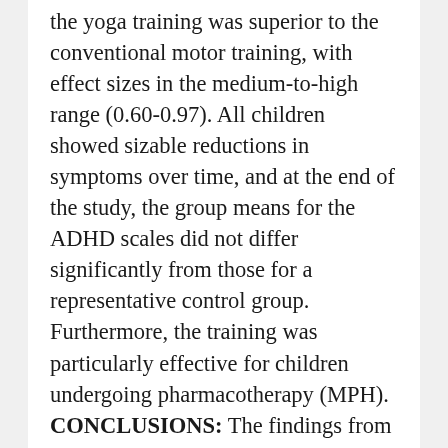the yoga training was superior to the conventional motor training, with effect sizes in the medium-to-high range (0.60-0.97). All children showed sizable reductions in symptoms over time, and at the end of the study, the group means for the ADHD scales did not differ significantly from those for a representative control group. Furthermore, the training was particularly effective for children undergoing pharmacotherapy (MPH). CONCLUSIONS: The findings from this pilot study demonstrate that yoga can be an effective complementary or concomitant treatment for attention-deficit/hyperactivity disorder. The